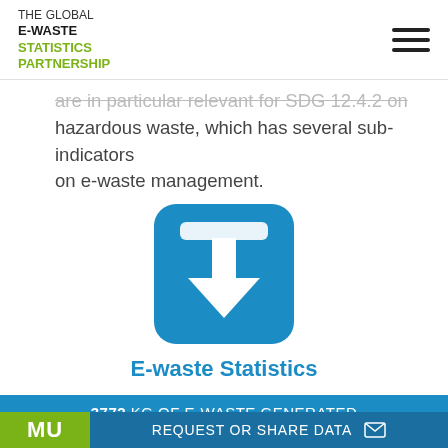THE GLOBAL E-WASTE STATISTICS PARTNERSHIP
are in particular relevant for SDG 12.4.2 on hazardous waste, which has several sub-indicators on e-waste management.
[Figure (illustration): Blue rounded square icon with a white downward arrow/download symbol in the center]
E-waste Statistics Tool
3772 KG OF E-WASTE GENERATED
REQUEST OR SHARE DATA